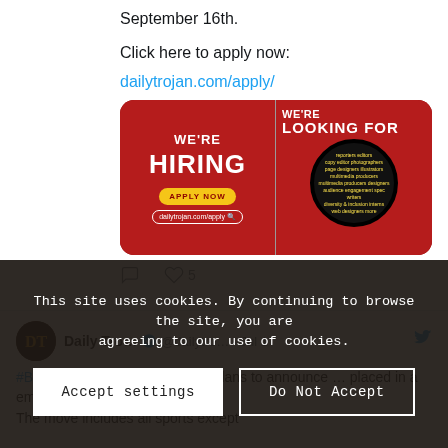September 16th.
Click here to apply now:
dailytrojan.com/apply/
[Figure (photo): Two-panel red recruitment image: left panel says WE'RE HIRING with APPLY NOW button and dailytrojan.com/apply URL; right panel says WE'RE LOOKING FOR with a magnifying glass over text listing qualifications.]
5 likes
Daily Tro... @dailytro... · Jul 1
#Breaking: @USC_FB officially plans to announce ... placed in a email Thursday. The move includes all sports except
This site uses cookies. By continuing to browse the site, you are agreeing to our use of cookies.
Accept settings
Do Not Accept